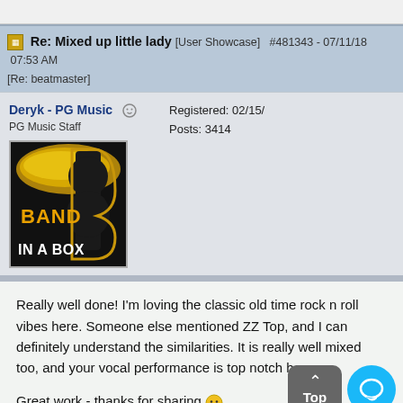Re: Mixed up little lady [User Showcase] #481343 - 07/11/18 07:53 AM [Re: beatmaster]
Deryk - PG Music
PG Music Staff
Registered: 02/15/...
Posts: 3414
[Figure (logo): Band in a Box logo - black background with gold/yellow BAND IN A BOX text and stylized B graphic]
Really well done! I'm loving the classic old time rock n roll vibes here. Someone else mentioned ZZ Top, and I can definitely understand the similarities. It is really well mixed too, and your vocal performance is top notch here.

Great work - thanks for sharing 😊